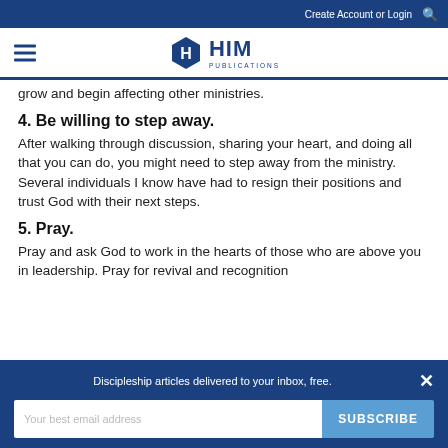Create Account or Login
[Figure (logo): HIM Publications logo with hexagon icon]
grow and begin affecting other ministries.
4. Be willing to step away.
After walking through discussion, sharing your heart, and doing all that you can do, you might need to step away from the ministry. Several individuals I know have had to resign their positions and trust God with their next steps.
5. Pray.
Pray and ask God to work in the hearts of those who are above you in leadership. Pray for revival and recognition
Discipleship articles delivered to your inbox, free.